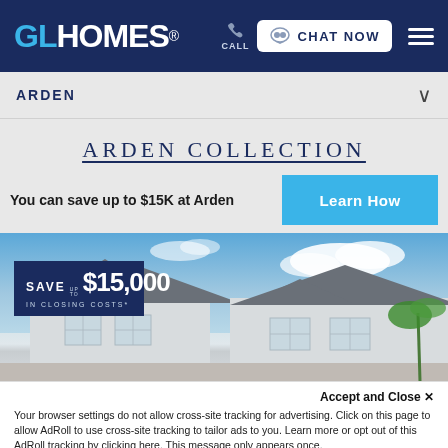[Figure (screenshot): GL Homes website header with logo, CALL button, CHAT NOW button, and hamburger menu on dark navy background]
ARDEN
ARDEN COLLECTION
You can save up to $15K at Arden
[Figure (photo): Exterior photo of white stucco homes with 'SAVE UP TO $15,000 IN CLOSING COSTS*' badge overlay]
Accept and Close ✕
Your browser settings do not allow cross-site tracking for advertising. Click on this page to allow AdRoll to use cross-site tracking to tailor ads to you. Learn more or opt out of this AdRoll tracking by clicking here. This message only appears once.